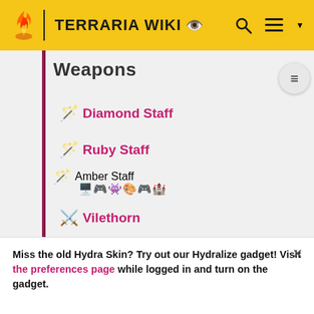TERRARIA WIKI
Weapons
Diamond Staff
Ruby Staff
Amber Staff
Vilethorn
Crimson Rod
Space Gun
Bee Gun
Miss the old Hydra Skin? Try out our Hydralize gadget! Visit the preferences page while logged in and turn on the gadget.